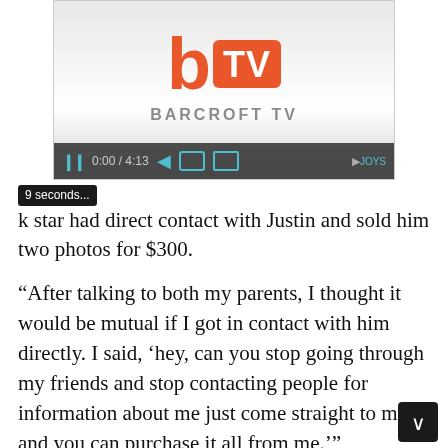[Figure (screenshot): Barcroft TV video player screenshot showing the logo with a large orange 'b' and 'TV' text box, 'BARCROFT TV' text below, and a dark video controls bar showing '0:00 / 4:13' with pause, rewind, camera, and screen icons.]
9 seconds...k star had direct contact with Justin and sold him two photos for $300.
“After talking to both my parents, I thought it would be mutual if I got in contact with him directly. I said, ‘hey, can you stop going through my friends and stop contacting people for information about me just come straight to me and you can purchase it all from me.’”